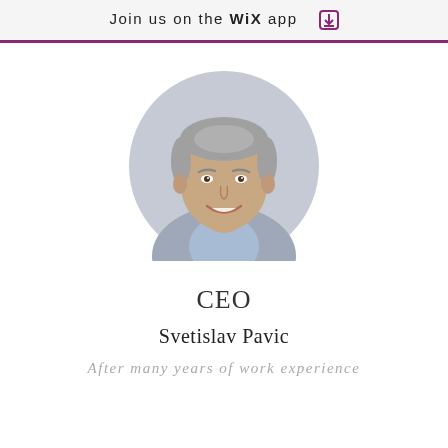Join us on the WiX app ↓
[Figure (photo): Circular profile photo of a middle-aged man with grey hair, smiling, wearing a light grey blazer and light blue shirt, on a light grey background.]
CEO
Svetislav Pavic
After many years of work experience